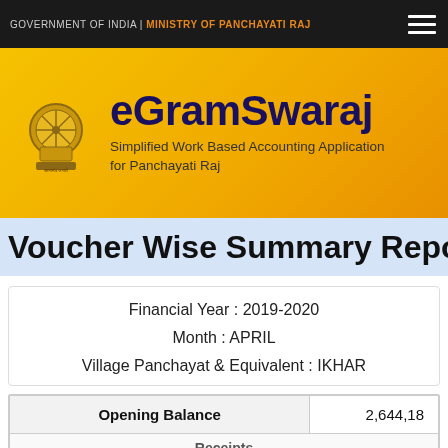GOVERNMENT OF INDIA | MINISTRY OF PANCHAYATI RAJ
[Figure (logo): eGramSwaraj logo with Ashoka Emblem and title text: eGramSwaraj. Subtitle: Simplified Work Based Accounting Application for Panchayati Raj]
Voucher Wise Summary Report
Financial Year : 2019-2020
Month : APRIL
Village Panchayat & Equivalent : IKHAR
| Opening Balance | 2,644,18 |
| --- | --- |
| Receipts |  |